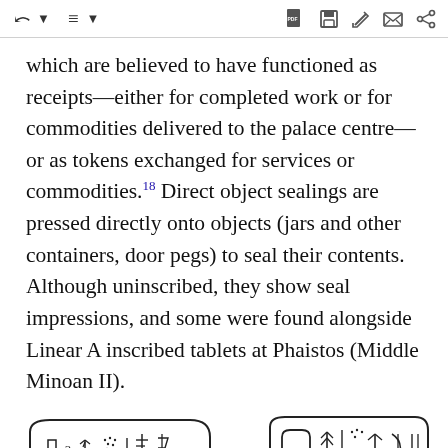toolbar icons
which are believed to have functioned as receipts—either for completed work or for commodities delivered to the palace centre—or as tokens exchanged for services or commodities.18 Direct object sealings are pressed directly onto objects (jars and other containers, door pegs) to seal their contents. Although uninscribed, they show seal impressions, and some were found alongside Linear A inscribed tablets at Phaistos (Middle Minoan II).
[Figure (illustration): Two hand-drawn illustrations of ancient clay tablets or sealings with Linear A or similar script symbols inscribed on them.]